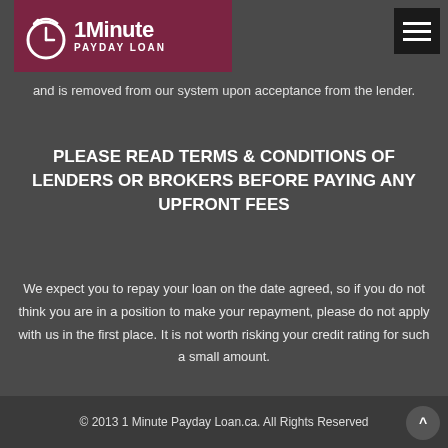[Figure (logo): 1 Minute Payday Loan logo with clock icon on dark red/maroon background]
and is removed from our system upon acceptance from the lender.
PLEASE READ TERMS & CONDITIONS OF LENDERS OR BROKERS BEFORE PAYING ANY UPFRONT FEES
We expect you to repay your loan on the date agreed, so if you do not think you are in a position to make your repayment, please do not apply with us in the first place. It is not worth risking your credit rating for such a small amount.
© 2013 1 Minute Payday Loan.ca. All Rights Reserved